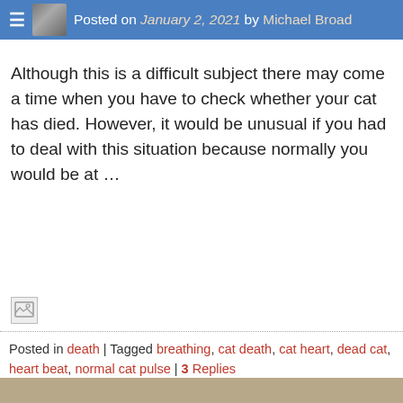≡  Posted on January 2, 2021 by Michael Broad
Although this is a difficult subject there may come a time when you have to check whether your cat has died. However, it would be unusual if you had to deal with this situation because normally you would be at …
[Figure (photo): Broken/placeholder image icon]
Posted in death | Tagged breathing, cat death, cat heart, dead cat, heart beat, normal cat pulse | 3 Replies
[Figure (photo): Photo of a small ceramic tile or plaque with a painted cat portrait (brown and white cat), lying on green grass with gravel/dirt background]